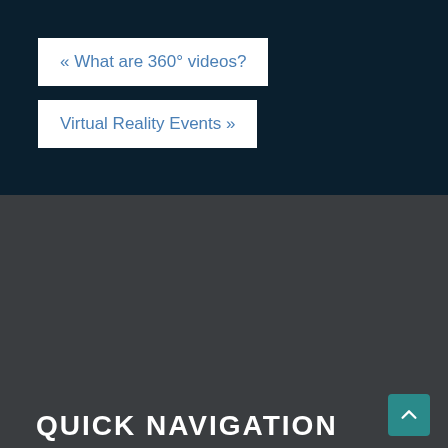« What are 360° videos?
Virtual Reality Events »
QUICK NAVIGATION
Home
Services
360° Video
360° Aerial Drone Footage
Virtual Reality Development
Augmented Reality Development
Virtual Tours